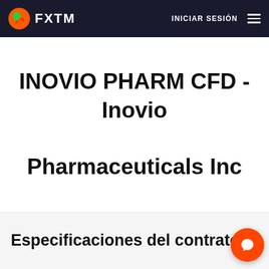FXTM  INICIAR SESIÓN
INOVIO PHARM CFD - Inovio Pharmaceuticals Inc
Especificaciones del contrato